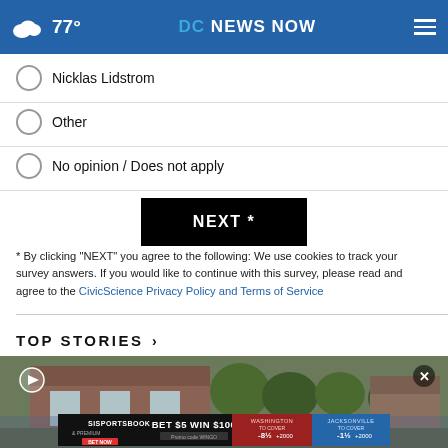77° DC NEWS NOW
Nicklas Lidstrom
Other
No opinion / Does not apply
NEXT *
* By clicking "NEXT" you agree to the following: We use cookies to track your survey answers. If you would like to continue with this survey, please read and agree to the CivicScience Privacy Policy and Terms of Service
TOP STORIES >
[Figure (photo): Thumbnail image of a house with brick exterior, video player with play button overlay and advertisement banner at bottom showing SI Sportsbook: BET $5 WIN $100, Washington vs Jacksonville]